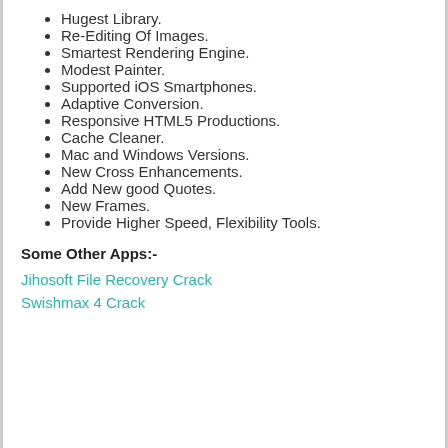Hugest Library.
Re-Editing Of Images.
Smartest Rendering Engine.
Modest Painter.
Supported iOS Smartphones.
Adaptive Conversion.
Responsive HTML5 Productions.
Cache Cleaner.
Mac and Windows Versions.
New Cross Enhancements.
Add New good Quotes.
New Frames.
Provide Higher Speed, Flexibility Tools.
Some Other Apps:-
Jihosoft File Recovery Crack
Swishmax 4 Crack